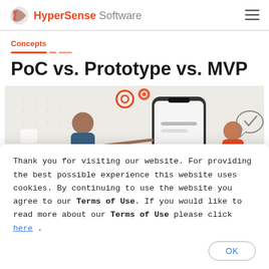HyperSense Software
Concepts
PoC vs. Prototype vs. MVP
[Figure (illustration): Illustration of a person interacting with a smartphone app, with gear icons and UI elements on a light beige background]
Thank you for visiting our website. For providing the best possible experience this website uses cookies. By continuing to use the website you agree to our Terms of Use. If you would like to read more about our Terms of Use please click here .